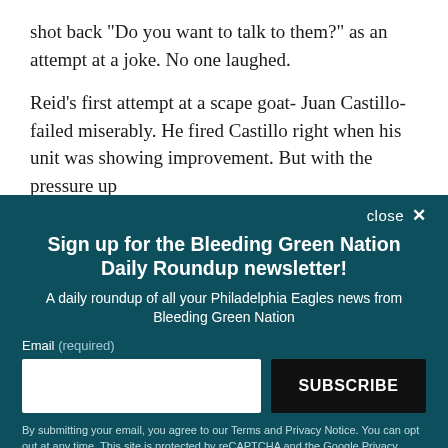shot back "Do you want to talk to them?" as an attempt at a joke. No one laughed.
Reid's first attempt at a scape goat- Juan Castillo- failed miserably. He fired Castillo right when his unit was showing improvement. But with the pressure up
close ✕
Sign up for the Bleeding Green Nation Daily Roundup newsletter!
A daily roundup of all your Philadelphia Eagles news from Bleeding Green Nation
Email (required)
SUBSCRIBE
By submitting your email, you agree to our Terms and Privacy Notice. You can opt out at any time. This site is protected by reCAPTCHA and the Google Privacy Policy and Terms of Service apply.